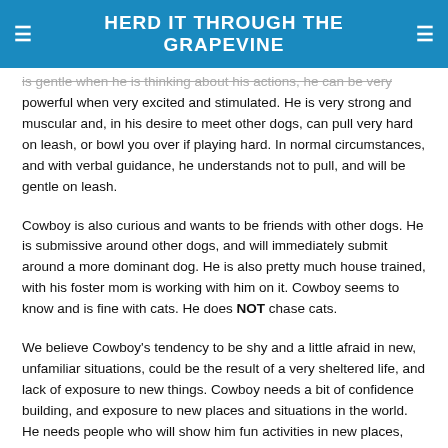HERD IT THROUGH THE GRAPEVINE
is gentle when he is thinking about his actions, he can be very powerful when very excited and stimulated. He is very strong and muscular and, in his desire to meet other dogs, can pull very hard on leash, or bowl you over if playing hard. In normal circumstances, and with verbal guidance, he understands not to pull, and will be gentle on leash.
Cowboy is also curious and wants to be friends with other dogs. He is submissive around other dogs, and will immediately submit around a more dominant dog. He is also pretty much house trained, with his foster mom is working with him on it. Cowboy seems to know and is fine with cats. He does NOT chase cats.
We believe Cowboy's tendency to be shy and a little afraid in new, unfamiliar situations, could be the result of a very sheltered life, and lack of exposure to new things. Cowboy needs a bit of confidence building, and exposure to new places and situations in the world. He needs people who will show him fun activities in new places, while letting him know he is safe, loved and secure.